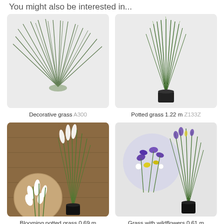You might also be interested in...
[Figure (photo): Decorative grass bundle with long green blades fanned out on light grey background]
Decorative grass A300
[Figure (photo): Potted grass 1.22 m tall in black pot on light grey background]
Potted grass 1.22 m Z133Z
[Figure (photo): Blooming potted grass with white flower spikes in black pot against wooden background]
Blooming potted grass 0.69 m Z096
[Figure (photo): Grass with purple and yellow wildflowers in black pot with circular inset showing close-up of flowers]
Grass with wildflowers 0.61 m Z181